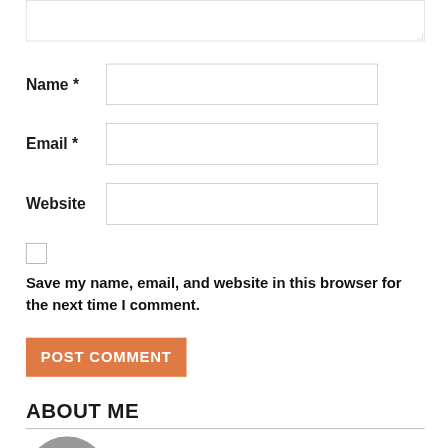[Figure (screenshot): Web comment form with textarea, Name, Email, Website fields, a checkbox, Save my name text, POST COMMENT button, and ABOUT ME section header with profile photo]
Name *
Email *
Website
Save my name, email, and website in this browser for the next time I comment.
POST COMMENT
ABOUT ME
My name is Divjot Singh. I have